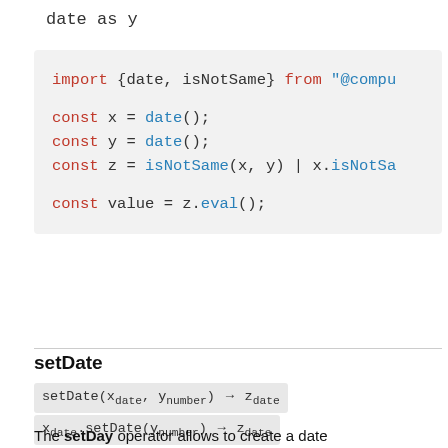date as y
[Figure (screenshot): Code block showing JavaScript import and const declarations with date and isNotSame functions]
setDate
setDate(x_date, y_number) → z_date
x_date.setDate(y_number) → z_date
The setDay operator allows to create a date